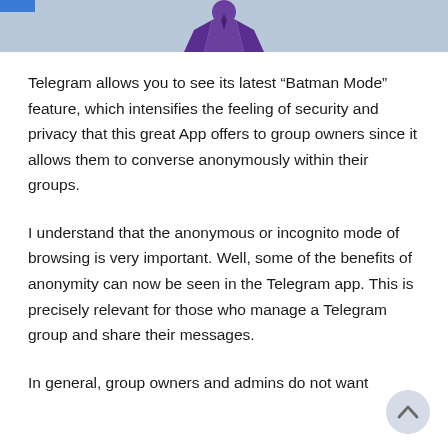[Figure (illustration): Top banner image showing a Batman-themed purple figure on a light blue/grey background, with a blue bar in the top-left corner.]
Telegram allows you to see its latest “Batman Mode” feature, which intensifies the feeling of security and privacy that this great App offers to group owners since it allows them to converse anonymously within their groups.
I understand that the anonymous or incognito mode of browsing is very important. Well, some of the benefits of anonymity can now be seen in the Telegram app. This is precisely relevant for those who manage a Telegram group and share their messages.
In general, group owners and admins do not want